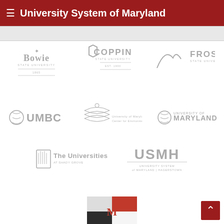University System of Maryland
[Figure (logo): Bowie State University logo - grayscale shield with flame and text]
[Figure (logo): Coppin State University logo - grayscale shield EST. 1900]
[Figure (logo): Frostburg State University logo - grayscale arch with text]
[Figure (logo): UMBC logo - grayscale globe and UMBC text]
[Figure (logo): University of Maryland Center for Environmental Science logo - grayscale landscape]
[Figure (logo): University of Maryland logo - grayscale globe with text]
[Figure (logo): The Universities at Shady Grove logo - grayscale shield]
[Figure (logo): USMH University System of Maryland Hagerstown logo]
[Figure (logo): Partially visible Maryland flag/logo at bottom of page]